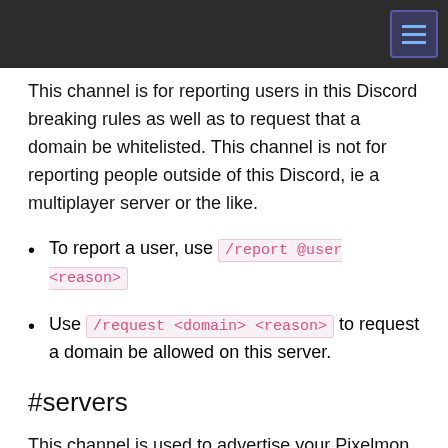This channel is for reporting users in this Discord breaking rules as well as to request that a domain be whitelisted. This channel is not for reporting people outside of this Discord, ie a multiplayer server or the like.
To report a user, use /report @user <reason>
Use /request <domain> <reason> to request a domain be allowed on this server.
#servers
This channel is used to advertise your Pixelmon server. Be sure to read and follow the rules posted in the '#rules' channel or the advertisement will be removed.
#server-recuitment